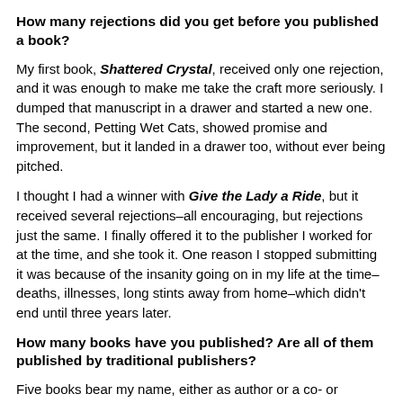How many rejections did you get before you published a book?
My first book, Shattered Crystal, received only one rejection, and it was enough to make me take the craft more seriously. I dumped that manuscript in a drawer and started a new one. The second, Petting Wet Cats, showed promise and improvement, but it landed in a drawer too, without ever being pitched.
I thought I had a winner with Give the Lady a Ride, but it received several rejections–all encouraging, but rejections just the same. I finally offered it to the publisher I worked for at the time, and she took it. One reason I stopped submitting it was because of the insanity going on in my life at the time–deaths, illnesses, long stints away from home–which didn't end until three years later.
How many books have you published? Are all of them published by traditional publishers?
Five books bear my name, either as author or a co- or